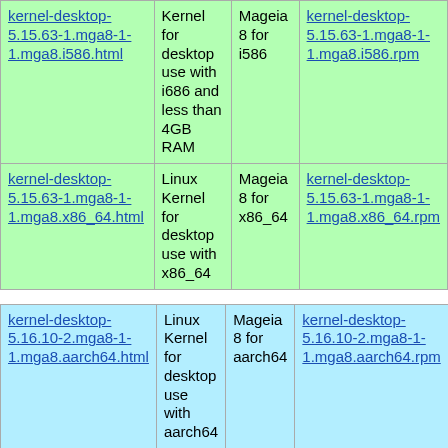| kernel-desktop-5.15.63-1.mga8-1-1.mga8.i586.html | Kernel for desktop use with i686 and less than 4GB RAM | Mageia 8 for i586 | kernel-desktop-5.15.63-1.mga8-1-1.mga8.i586.rpm |
| kernel-desktop-5.15.63-1.mga8-1-1.mga8.x86_64.html | Linux Kernel for desktop use with x86_64 | Mageia 8 for x86_64 | kernel-desktop-5.15.63-1.mga8-1-1.mga8.x86_64.rpm |
| kernel-desktop-5.16.10-2.mga8-1-1.mga8.aarch64.html | Linux Kernel for desktop use with aarch64 | Mageia 8 for aarch64 | kernel-desktop-5.16.10-2.mga8-1-1.mga8.aarch64.rpm |
| kernel-desktop-5.16.10-2.mga8-1-1.mga8.[?].html | Linux Kernel for desktop | Mageia 8 for | kernel-desktop-5.16.10-2.mga8-1-1.mga8.[?].rpm |